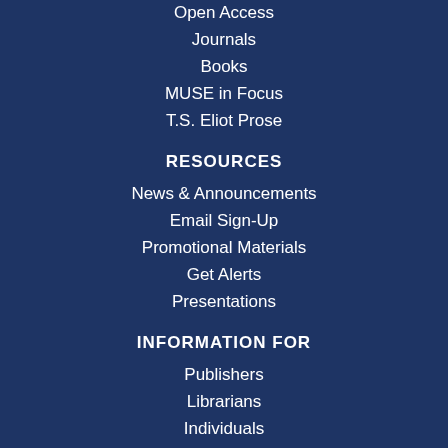Open Access
Journals
Books
MUSE in Focus
T.S. Eliot Prose
RESOURCES
News & Announcements
Email Sign-Up
Promotional Materials
Get Alerts
Presentations
INFORMATION FOR
Publishers
Librarians
Individuals